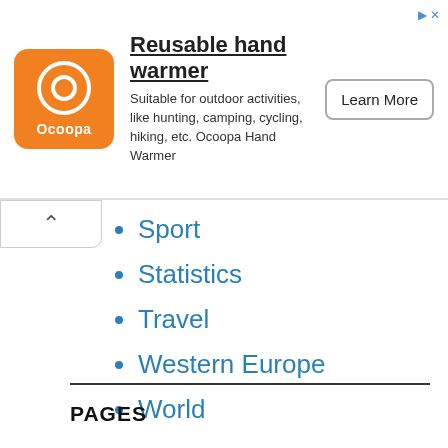[Figure (other): Advertisement banner for Ocoopa Reusable Hand Warmer with orange logo, product description, and Learn More button]
Sport
Statistics
Travel
Western Europe
World
PAGES